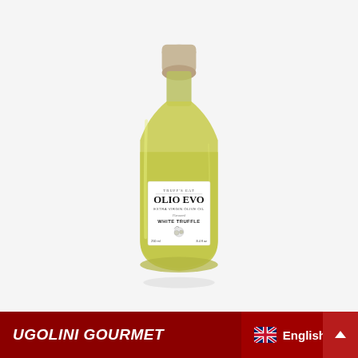[Figure (photo): A glass bottle of Truff's Eat Olio Evo Extra Virgin Olive Oil flavored with White Truffle. The bottle has a beige/taupe cork stopper, rounded shoulders, and is filled with golden-green olive oil. The white label reads: TRUFF'S EAT, OLIO EVO, Extra Virgin Olive Oil, Flavoured, WHITE TRUFFLE, with a small illustration of a truffle. Bottom of label shows 250 ml and 8.4 fl oz. Background is light grey.]
UGOLINI GOURMET   English